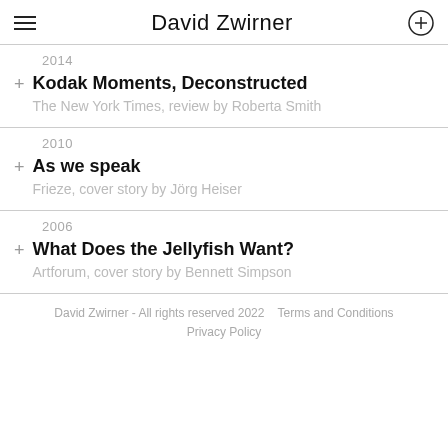David Zwirner
2014
Kodak Moments, Deconstructed
The New York Times, review by Roberta Smith
2010
As we speak
Frieze, cover story by Jörg Heiser
2006
What Does the Jellyfish Want?
Artforum, cover story by Bennett Simpson
David Zwirner - All rights reserved 2022   Terms and Conditions
Privacy Policy